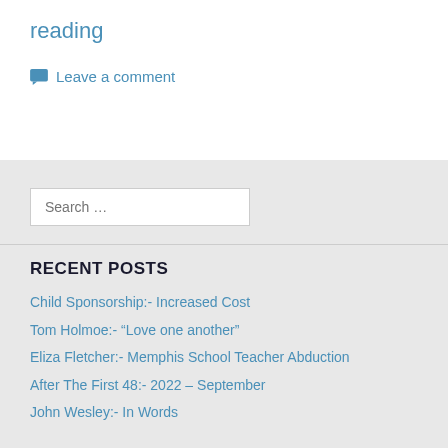reading
Leave a comment
Search …
RECENT POSTS
Child Sponsorship:- Increased Cost
Tom Holmoe:- “Love one another”
Eliza Fletcher:- Memphis School Teacher Abduction
After The First 48:- 2022 – September
John Wesley:- In Words